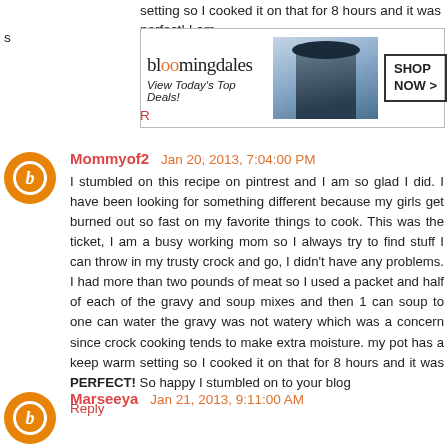setting so I cooked it on that for 8 hours and it was perfect! I am
[Figure (screenshot): Bloomingdale's advertisement banner: 'View Today's Top Deals!' with a woman in a hat and 'SHOP NOW >' button]
Mommyof2  Jan 20, 2013, 7:04:00 PM

I stumbled on this recipe on pintrest and I am so glad I did. I have been looking for something different because my girls get burned out so fast on my favorite things to cook. This was the ticket, I am a busy working mom so I always try to find stuff I can throw in my trusty crock and go, I didn't have any problems. I had more than two pounds of meat so I used a packet and half of each of the gravy and soup mixes and then 1 can soup to one can water the gravy was not watery which was a concern since crock cooking tends to make extra moisture. my pot has a keep warm setting so I cooked it on that for 8 hours and it was PERFECT! So happy I stumbled on to your blog
Reply
Marseeya  Jan 21, 2013, 9:11:00 AM